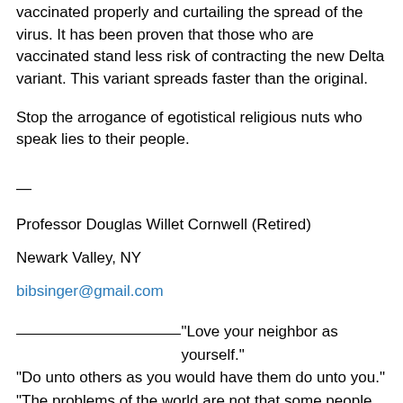vaccinated properly and curtailing the spread of the virus. It has been proven that those who are vaccinated stand less risk of contracting the new Delta variant. This variant spreads faster than the original.
Stop the arrogance of egotistical religious nuts who speak lies to their people.
—
Professor Douglas Willet Cornwell (Retired)
Newark Valley, NY
bibsinger@gmail.com
——————————“Love your neighbor as yourself.”
“Do unto others as you would have them do unto you.”
“The problems of the world are not that some people love